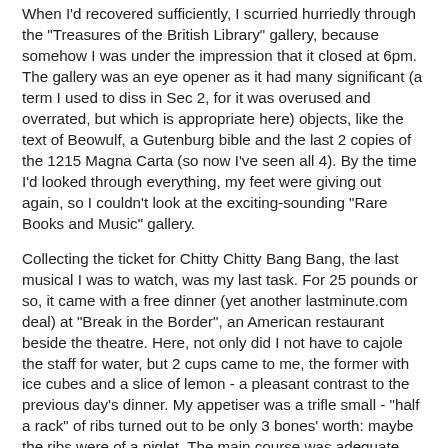When I'd recovered sufficiently, I scurried hurriedly through the "Treasures of the British Library" gallery, because somehow I was under the impression that it closed at 6pm. The gallery was an eye opener as it had many significant (a term I used to diss in Sec 2, for it was overused and overrated, but which is appropriate here) objects, like the text of Beowulf, a Gutenburg bible and the last 2 copies of the 1215 Magna Carta (so now I've seen all 4). By the time I'd looked through everything, my feet were giving out again, so I couldn't look at the exciting-sounding "Rare Books and Music" gallery.
Collecting the ticket for Chitty Chitty Bang Bang, the last musical I was to watch, was my last task. For 25 pounds or so, it came with a free dinner (yet another lastminute.com deal) at "Break in the Border", an American restaurant beside the theatre. Here, not only did I not have to cajole the staff for water, but 2 cups came to me, the former with ice cubes and a slice of lemon - a pleasant contrast to the previous day's dinner. My appetiser was a trifle small - "half a rack" of ribs turned out to be only 3 bones' worth: maybe the ribs were of a piglet. The main course was adequate though,